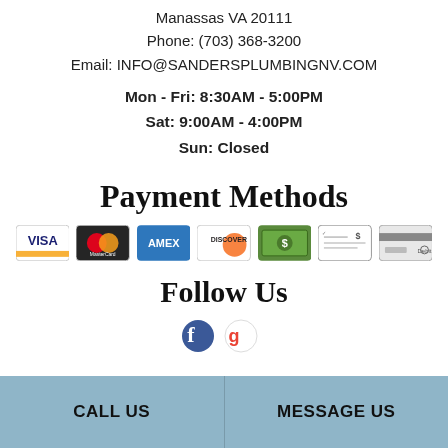Manassas VA 20111
Phone: (703) 368-3200
Email: INFO@SANDERSPLUMBINGNV.COM
Mon - Fri: 8:30AM - 5:00PM
Sat: 9:00AM - 4:00PM
Sun: Closed
Payment Methods
[Figure (infographic): Payment method icons: Visa, MasterCard, American Express, Discover, Cash, Check, Debit card]
Follow Us
[Figure (infographic): Social media icons: Facebook, Google]
CALL US   |   MESSAGE US